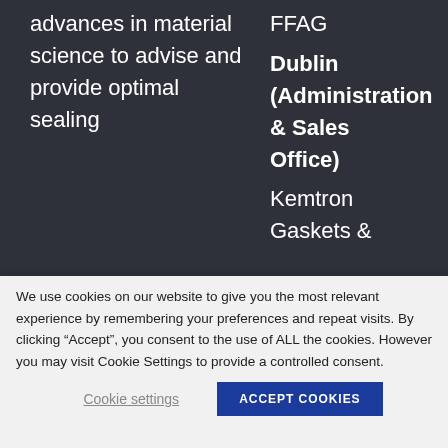advances in material science to advise and provide optimal sealing
FFAG Dublin (Administration & Sales Office) Kemtron Gaskets &
We use cookies on our website to give you the most relevant experience by remembering your preferences and repeat visits. By clicking “Accept”, you consent to the use of ALL the cookies. However you may visit Cookie Settings to provide a controlled consent.
Cookie settings
ACCEPT COOKIES